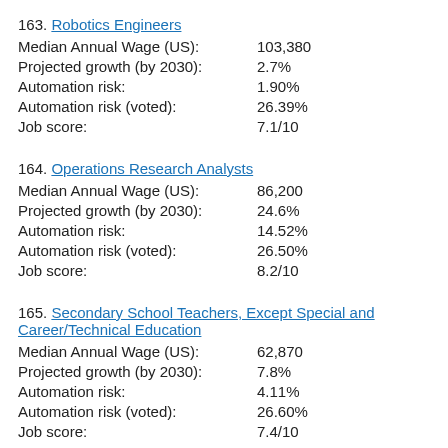163. Robotics Engineers
|  |  |
| --- | --- |
| Median Annual Wage (US): | 103,380 |
| Projected growth (by 2030): | 2.7% |
| Automation risk: | 1.90% |
| Automation risk (voted): | 26.39% |
| Job score: | 7.1/10 |
164. Operations Research Analysts
|  |  |
| --- | --- |
| Median Annual Wage (US): | 86,200 |
| Projected growth (by 2030): | 24.6% |
| Automation risk: | 14.52% |
| Automation risk (voted): | 26.50% |
| Job score: | 8.2/10 |
165. Secondary School Teachers, Except Special and Career/Technical Education
|  |  |
| --- | --- |
| Median Annual Wage (US): | 62,870 |
| Projected growth (by 2030): | 7.8% |
| Automation risk: | 4.11% |
| Automation risk (voted): | 26.60% |
| Job score: | 7.4/10 |